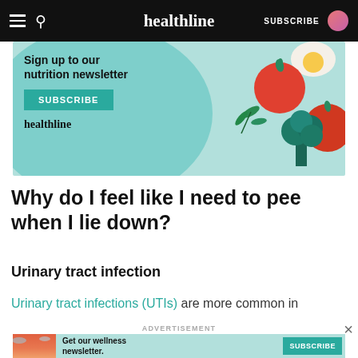healthline | SUBSCRIBE
[Figure (illustration): Healthline nutrition newsletter advertisement banner with vegetables illustration (tomatoes, broccoli, egg) on teal background. Text: 'Sign up to our nutrition newsletter' with SUBSCRIBE button and healthline logo.]
Why do I feel like I need to pee when I lie down?
Urinary tract infection
Urinary tract infections (UTIs) are more common in
ADVERTISEMENT
[Figure (illustration): Bottom advertisement banner: wellness newsletter with illustrated woman, teal background. Text: 'Get our wellness newsletter.' with SUBSCRIBE button.]